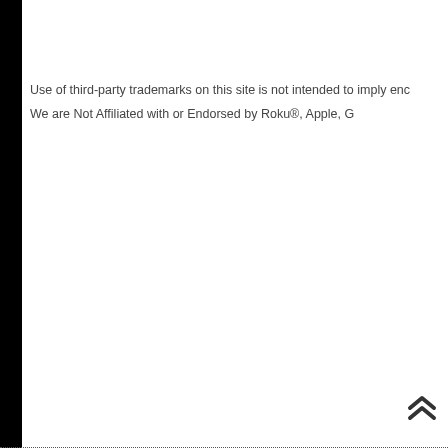Use of third-party trademarks on this site is not intended to imply enc
We are Not Affiliated with or Endorsed by Roku®, Apple, G
Newer Post   Home